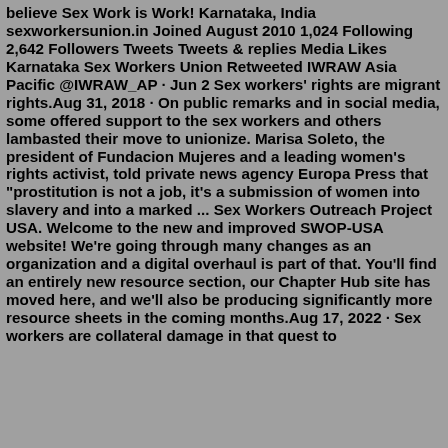believe Sex Work is Work! Karnataka, India sexworkersunion.in Joined August 2010 1,024 Following 2,642 Followers Tweets Tweets & replies Media Likes Karnataka Sex Workers Union Retweeted IWRAW Asia Pacific @IWRAW_AP · Jun 2 Sex workers' rights are migrant rights.Aug 31, 2018 · On public remarks and in social media, some offered support to the sex workers and others lambasted their move to unionize. Marisa Soleto, the president of Fundacion Mujeres and a leading women's rights activist, told private news agency Europa Press that "prostitution is not a job, it's a submission of women into slavery and into a marked ... Sex Workers Outreach Project USA. Welcome to the new and improved SWOP-USA website! We're going through many changes as an organization and a digital overhaul is part of that. You'll find an entirely new resource section, our Chapter Hub site has moved here, and we'll also be producing significantly more resource sheets in the coming months.Aug 17, 2022 · Sex workers are collateral damage in that quest to